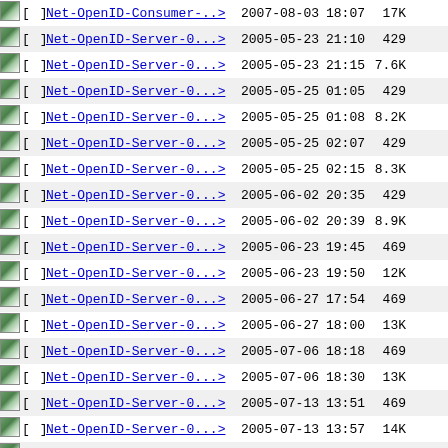| icon | type | name | date | time | size |
| --- | --- | --- | --- | --- | --- |
| [img] | [ ] | Net-OpenID-Consumer-..> | 2007-08-03 | 18:07 | 17K |
| [img] | [ ] | Net-OpenID-Server-0...> | 2005-05-23 | 21:10 | 429 |
| [img] | [ ] | Net-OpenID-Server-0...> | 2005-05-23 | 21:15 | 7.6K |
| [img] | [ ] | Net-OpenID-Server-0...> | 2005-05-25 | 01:05 | 429 |
| [img] | [ ] | Net-OpenID-Server-0...> | 2005-05-25 | 01:08 | 8.2K |
| [img] | [ ] | Net-OpenID-Server-0...> | 2005-05-25 | 02:07 | 429 |
| [img] | [ ] | Net-OpenID-Server-0...> | 2005-05-25 | 02:15 | 8.3K |
| [img] | [ ] | Net-OpenID-Server-0...> | 2005-06-02 | 20:35 | 429 |
| [img] | [ ] | Net-OpenID-Server-0...> | 2005-06-02 | 20:39 | 8.9K |
| [img] | [ ] | Net-OpenID-Server-0...> | 2005-06-23 | 19:45 | 469 |
| [img] | [ ] | Net-OpenID-Server-0...> | 2005-06-23 | 19:50 | 12K |
| [img] | [ ] | Net-OpenID-Server-0...> | 2005-06-27 | 17:54 | 469 |
| [img] | [ ] | Net-OpenID-Server-0...> | 2005-06-27 | 18:00 | 13K |
| [img] | [ ] | Net-OpenID-Server-0...> | 2005-07-06 | 18:18 | 469 |
| [img] | [ ] | Net-OpenID-Server-0...> | 2005-07-06 | 18:30 | 13K |
| [img] | [ ] | Net-OpenID-Server-0...> | 2005-07-13 | 13:51 | 469 |
| [img] | [ ] | Net-OpenID-Server-0...> | 2005-07-13 | 13:57 | 14K |
| [img] | [ ] | Net-OpenID-Server-0...> | 2005-09-01 | 17:54 | 469 |
| [img] | [ ] | Net-OpenID-Server-0...> | 2005-09-01 | 17:56 | 14K |
| [img] | [ ] | Net-OpenID-Server-0...> | 2007-04-16 | 13:46 | 469 |
| [img] | [ ] | Net-OpenID-Server-0...> | 2007-04-16 | 13:46 | 14K |
| [img] | [ ] | Net-OpenID-Server-0...> | 2007-09-03 | 21:38 | 469 |
| [img] | [ ] | Net-OpenID-Server-0...> | 2007-09-03 | 21:38 | 14K |
| [img] | [ ] | Net-OpenID-Server-0...> | 2007-09-09 | 23:15 | 469 |
| [img] | [ ] | Net-OpenID-Server-0...> | 2007-09-09 | 23:15 | 14K |
| [img] | [ ] | Net-PubSubHubbub-Pub..> | 2009-04-26 | 18:06 | 467 |
| [img] | [ ] | Net-PubSubHubbub-Pub..> | 2009-04-26 | 18:06 | 2.1K |
| [img] | [ ] | Net-PubSubHubbub-Pub..> | 2009-04-26 | 19:04 | 467 |